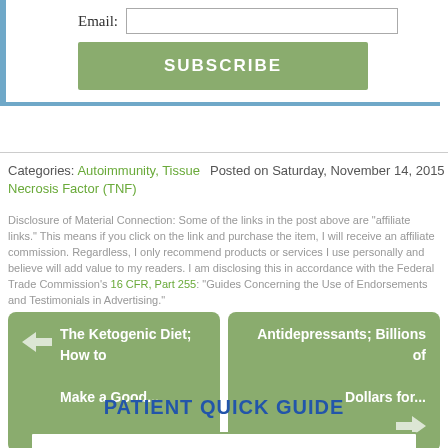Email: [input] SUBSCRIBE
Categories: Autoimmunity, Tissue Necrosis Factor (TNF)   Posted on Saturday, November 14, 2015
Disclosure of Material Connection: Some of the links in the post above are “affiliate links.” This means if you click on the link and purchase the item, I will receive an affiliate commission. Regardless, I only recommend products or services I use personally and believe will add value to my readers. I am disclosing this in accordance with the Federal Trade Commission’s 16 CFR, Part 255: “Guides Concerning the Use of Endorsements and Testimonials in Advertising.”
The Ketogenic Diet; How to Make a Good...
Antidepressants; Billions of Dollars for...
PATIENT QUICK GUIDE